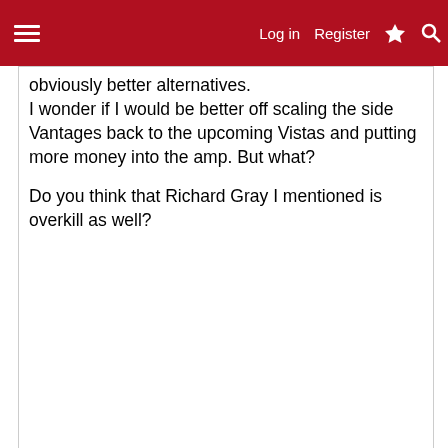Log in   Register
obviously better alternatives.
I wonder if I would be better off scaling the side Vantages back to the upcoming Vistas and putting more money into the amp. But what?
Do you think that Richard Gray I mentioned is overkill as well?
Advertisement
[Figure (other): Gray advertisement placeholder box]